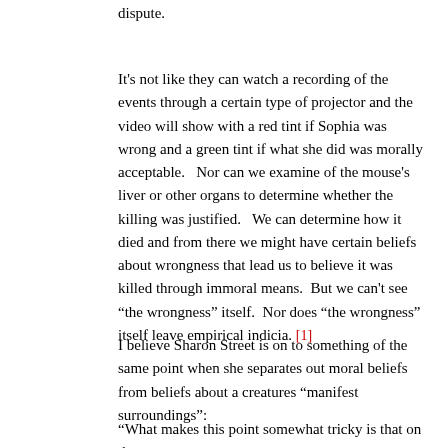dispute.
It's not like they can watch a recording of the events through a certain type of projector and the video will show with a red tint if Sophia was wrong and a green tint if what she did was morally acceptable.   Nor can we examine of the mouse's liver or other organs to determine whether the killing was justified.   We can determine how it died and from there we might have certain beliefs about wrongness that lead us to believe it was killed through immoral means.  But we can't see “the wrongness” itself.  Nor does “the wrongness” itself leave empirical indicia. [1]
I believe Sharon Street is on to something of the same point when she separates out moral beliefs from beliefs about a creatures “manifest surroundings”:
“What makes this point somewhat tricky is that on the